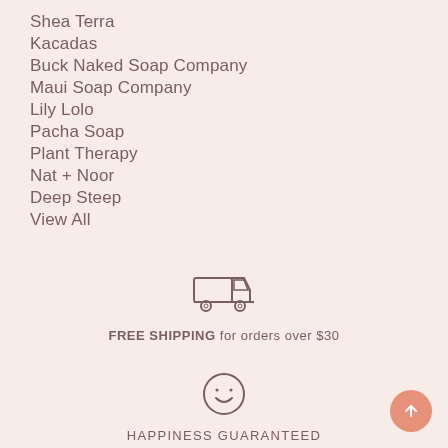Shea Terra
Kacadas
Buck Naked Soap Company
Maui Soap Company
Lily Lolo
Pacha Soap
Plant Therapy
Nat + Noor
Deep Steep
View All
[Figure (illustration): Delivery truck icon (outline style)]
FREE SHIPPING for orders over $30
[Figure (illustration): Smiley face icon (circle outline with smile)]
HAPPINESS GUARANTEED